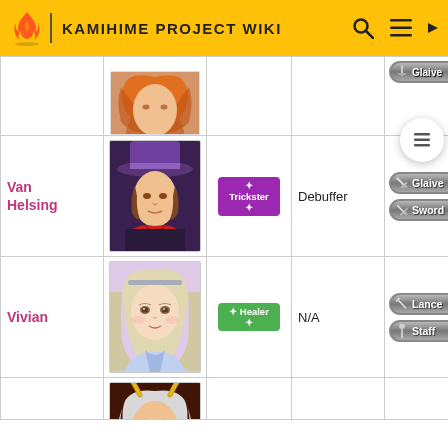KAMIHIME PROJECT WIKI
| Name | Image | Type | Role | Weapons |
| --- | --- | --- | --- | --- |
|  |  |  |  |  |
| Van Helsing | [image] | Trickster | Debuffer | Glaive / Sword |
| Vivian | [image] | Healer | N/A | Lance / Staff |
| Yukimura | [image] | Offense | Samurai | Bow / Lance |